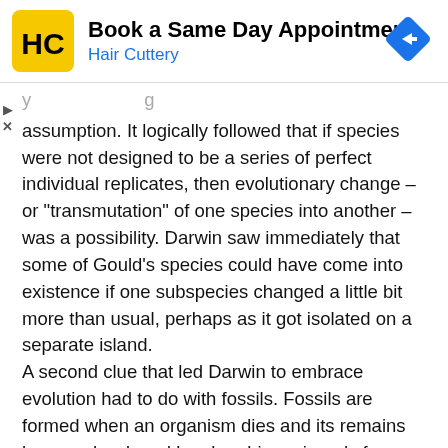[Figure (other): Hair Cuttery advertisement banner with yellow logo and navigation arrow icon. Text reads: Book a Same Day Appointment, Hair Cuttery.]
assumption. It logically followed that if species were not designed to be a series of perfect individual replicates, then evolutionary change – or "transmutation" of one species into another – was a possibility. Darwin saw immediately that some of Gould's species could have come into existence if one subspecies changed a little bit more than usual, perhaps as it got isolated on a separate island.
A second clue that led Darwin to embrace evolution had to do with fossils. Fossils are formed when an organism dies and its remains become hardened by absorbing minerals from the earth in which they were buried. Thus, fossils are direct evidence of life in the past and